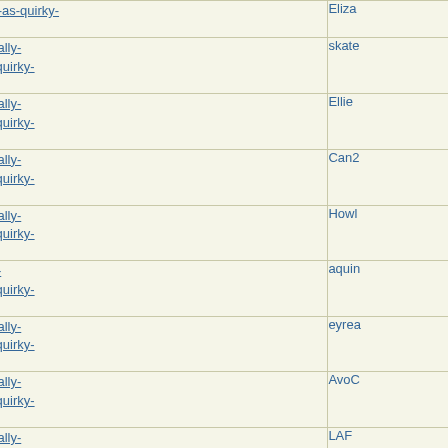| Subject | Author |
| --- | --- |
| Re: Not-really-brag-so-much-as-quirky-anecdote thread | Eliza... |
| Re: Not-really-brag-so-much-as-quirky-anecdote thread | skate... |
| Re: Not-really-brag-so-much-as-quirky-anecdote thread | Ellie |
| Re: Not-really-brag-so-much-as-quirky-anecdote thread | Can2... |
| Re: Not-really-brag-so-much-as-quirky-anecdote thread | Howl... |
| Re: Not-really-brag-so-much-as-quirky-anecdote thread | aquin... |
| Re: Not-really-brag-so-much-as-quirky-anecdote thread | eyrea... |
| Re: Not-really-brag-so-much-as-quirky-anecdote thread | AvoC... |
| Re: Not-really-brag-so-much-as-quirky-anecdote thread | LAF... |